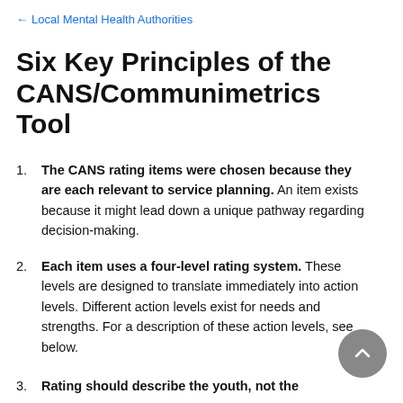← Local Mental Health Authorities
Six Key Principles of the CANS/Communimetrics Tool
The CANS rating items were chosen because they are each relevant to service planning. An item exists because it might lead down a unique pathway regarding decision-making.
Each item uses a four-level rating system. These levels are designed to translate immediately into action levels. Different action levels exist for needs and strengths. For a description of these action levels, see below.
Rating should describe the youth, not the